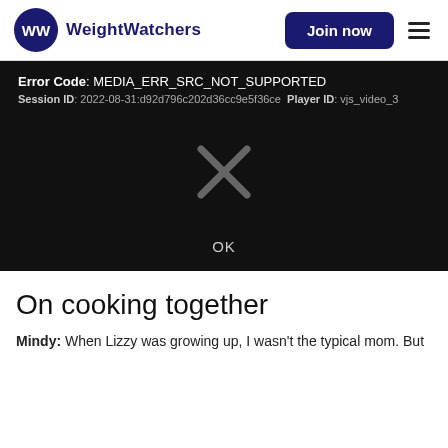WeightWatchers | Join now
[Figure (screenshot): Video player error screen on black background showing Error Code: MEDIA_ERR_SRC_NOT_SUPPORTED, Session ID: 2022-08-31:d92d796c202d36cc9e5f36ce Player ID: vjs_video_3, a large gray X icon in the center, and an OK button below it.]
On cooking together
Mindy: When Lizzy was growing up, I wasn't the typical mom. But